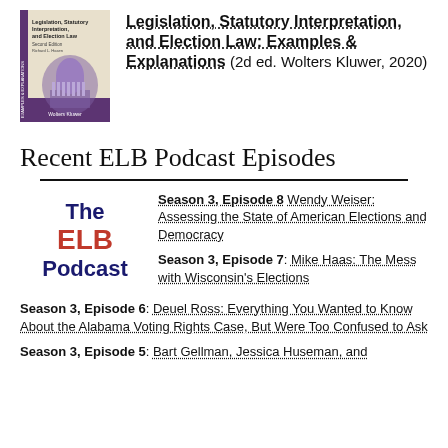[Figure (illustration): Book cover of 'Legislation, Statutory Interpretation, and Election Law: Examples & Explanations, Second Edition' published by Wolters Kluwer, featuring an image of a government building dome on a purple/beige background.]
Legislation, Statutory Interpretation, and Election Law: Examples & Explanations (2d ed. Wolters Kluwer, 2020)
Recent ELB Podcast Episodes
[Figure (logo): The ELB Podcast logo with 'The' and 'Podcast' in dark blue and 'ELB' in red.]
Season 3, Episode 8 Wendy Weiser: Assessing the State of American Elections and Democracy
Season 3, Episode 7: Mike Haas: The Mess with Wisconsin's Elections
Season 3, Episode 6: Deuel Ross: Everything You Wanted to Know About the Alabama Voting Rights Case, But Were Too Confused to Ask
Season 3, Episode 5: Bart Gellman, Jessica Huseman, and